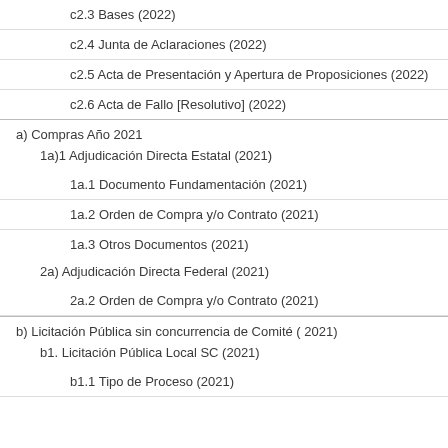c2.3 Bases (2022)
c2.4 Junta de Aclaraciones (2022)
c2.5 Acta de Presentación y Apertura de Proposiciones (2022)
c2.6 Acta de Fallo [Resolutivo] (2022)
a) Compras Año 2021
1a)1 Adjudicación Directa Estatal (2021)
1a.1 Documento Fundamentación (2021)
1a.2 Orden de Compra y/o Contrato (2021)
1a.3 Otros Documentos (2021)
2a) Adjudicación Directa Federal (2021)
2a.2 Orden de Compra y/o Contrato (2021)
b) Licitación Pública sin concurrencia de Comité ( 2021)
b1. Licitación Pública Local SC (2021)
b1.1 Tipo de Proceso (2021)